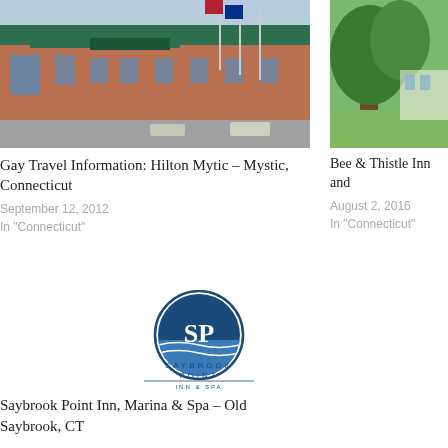[Figure (photo): Exterior photo of Hilton Mystic hotel building with green roof canopy, brick facade, and flags]
Gay Travel Information: Hilton Mytic – Mystic, Connecticut
September 12, 2012
In "Connecticut"
[Figure (photo): Partial photo of trees and green lawn, partially cropped on right side]
Bee & Thistle Inn and
August 2, 2016
In "Connecticut"
[Figure (logo): Saybrook Point Inn & Spa circular logo with SP initials and ocean wave design, navy and blue colors]
Saybrook Point Inn, Marina & Spa – Old Saybrook, CT